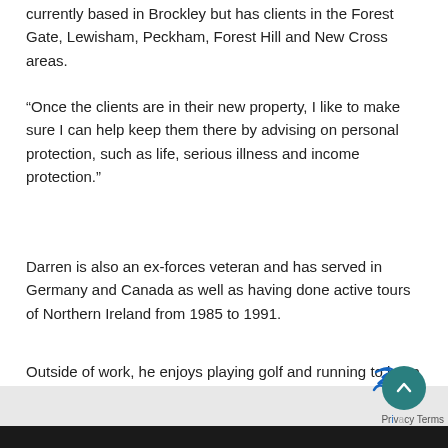currently based in Brockley but has clients in the Forest Gate, Lewisham, Peckham, Forest Hill and New Cross areas.
“Once the clients are in their new property, I like to make sure I can help keep them there by advising on personal protection, such as life, serious illness and income protection.”
Darren is also an ex-forces veteran and has served in Germany and Canada as well as having done active tours of Northern Ireland from 1985 to 1991.
Outside of work, he enjoys playing golf and running to keep fit.
[Figure (other): Bottom grey strip with black bar, scroll-to-top button (teal circle with up chevron), and Privacy/Terms text. Partial image visible at bottom.]